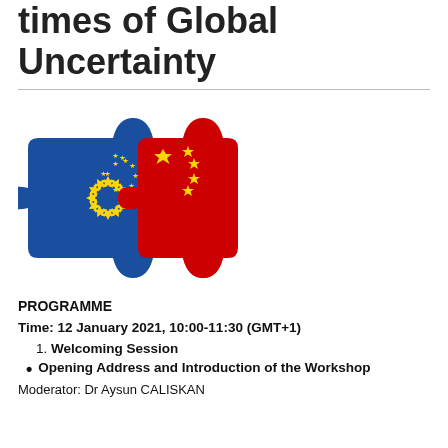times of Global Uncertainty
[Figure (logo): EU-China puzzle piece logos joined together, representing EU flag (blue with yellow stars) and China flag (red with yellow stars), next to 'Lead2' text logo in blue and orange]
PROGRAMME
Time: 12 January 2021, 10:00-11:30 (GMT+1)
1. Welcoming Session
• Opening Address and Introduction of the Workshop
Moderator: Dr Aysun CALISKAN